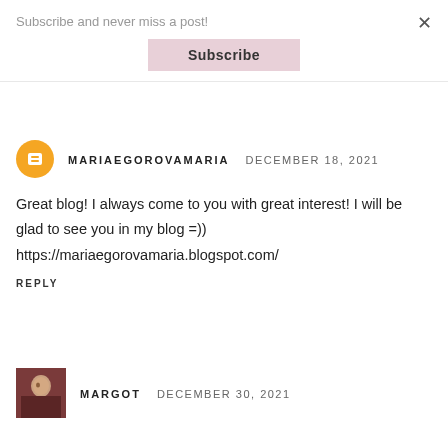Subscribe and never miss a post!
Subscribe
×
MARIAEGOROVAMARIA   DECEMBER 18, 2021
Great blog! I always come to you with great interest! I will be glad to see you in my blog =))
https://mariaegorovamaria.blogspot.com/
REPLY
MARGOT   DECEMBER 30, 2021